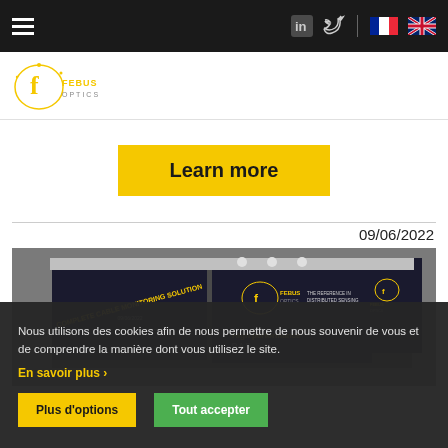Navigation bar with hamburger menu, LinkedIn, Twitter icons, French and UK flag language selectors
[Figure (logo): Febus Optics logo — stylized letter f in a circle with FEBUS OPTICS text]
Learn more
09/06/2022
[Figure (photo): Exhibition booth for Febus Optics showing dark panels with text: COMPLETE CABLE MONITORING SOLUTION, FEBUS OPTICS - THE REFERENCE IN DISTRIBUTED SENSING, High performances of...]
Nous utilisons des cookies afin de nous permettre de nous souvenir de vous et de comprendre la manière dont vous utilisez le site.
En savoir plus ›
Plus d'options
Tout accepter